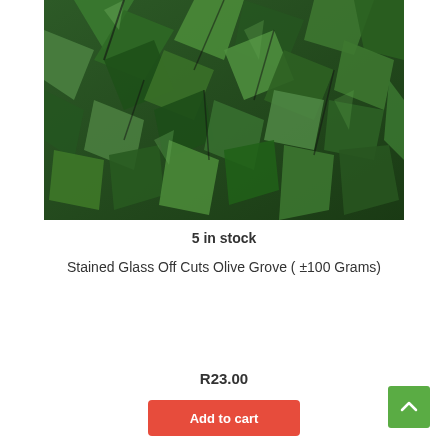[Figure (photo): Close-up photo of dark green stained glass off cuts / shards in triangular and angular shapes, piled together, showing Olive Grove colored glass pieces.]
5 in stock
Stained Glass Off Cuts Olive Grove ( ±100 Grams)
R23.00
Add to cart